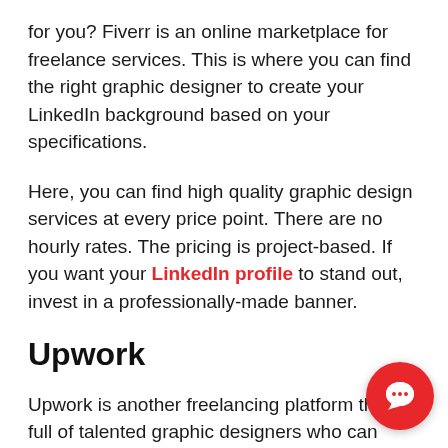for you? Fiverr is an online marketplace for freelance services. This is where you can find the right graphic designer to create your LinkedIn background based on your specifications.
Here, you can find high quality graphic design services at every price point. There are no hourly rates. The pricing is project-based. If you want your LinkedIn profile to stand out, invest in a professionally-made banner.
Upwork
Upwork is another freelancing platform that is full of talented graphic designers who can design your LinkedIn background banner for you. Formerly known as Elance-oDesk, Upwork is a platform wi... enterprises and individuals can connect to